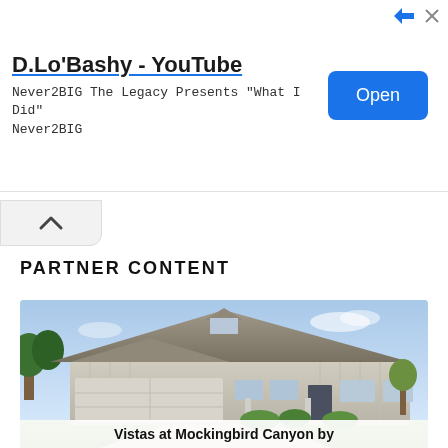[Figure (screenshot): YouTube app ad banner showing 'D.Lo'Bashy - YouTube' with subtitle 'Never2BIG The Legacy Presents "What I Did" Never2BIG' and a blue Open button on the right, with share/close icons top right.]
PARTNER CONTENT
[Figure (photo): Photo of a single-story craftsman/ranch style home with a large two-car garage, board-and-batten siding, gabled roof, lush landscaping, and a blue sky background.]
Vistas at Mockingbird Canyon by